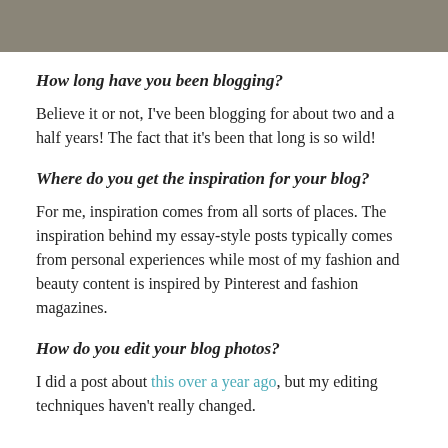[Figure (photo): Top portion of a photo showing a grayish-brown textured background, partially cropped at top of page.]
How long have you been blogging?
Believe it or not, I've been blogging for about two and a half years! The fact that it's been that long is so wild!
Where do you get the inspiration for your blog?
For me, inspiration comes from all sorts of places. The inspiration behind my essay-style posts typically comes from personal experiences while most of my fashion and beauty content is inspired by Pinterest and fashion magazines.
How do you edit your blog photos?
I did a post about this over a year ago, but my editing techniques haven't really changed.